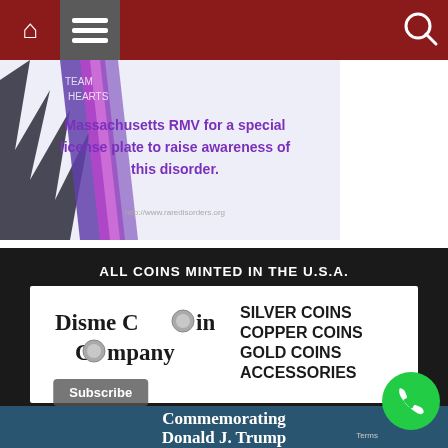[Figure (screenshot): Website navigation bar with home icon, hamburger menu, and search icon on dark red background]
[Figure (illustration): Banner image with purple ribbon graphic and text: Massachusetts RMV for a special license plate to raise awareness of this disorder.]
[Figure (logo): Disme Coin Company advertisement. Header: ALL COINS MINTED IN THE U.S.A. Logo shows Disme Coin Company with coin graphics. Products listed: SILVER COINS, COPPER COINS, GOLD COINS, ACCESSORIES. Title text: Exclusive Bullion From Disme Coin Company Commemorating Donald J. Trump]